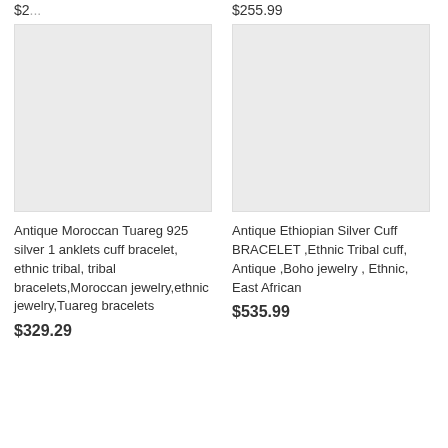$2...
$255.99
[Figure (photo): Product image placeholder - light gray rectangle for left item]
[Figure (photo): Product image placeholder - light gray rectangle for right item]
Antique Moroccan Tuareg 925 silver 1 anklets cuff bracelet, ethnic tribal, tribal bracelets,Moroccan jewelry,ethnic jewelry,Tuareg bracelets
$329.29
Antique Ethiopian Silver Cuff BRACELET ,Ethnic Tribal cuff, Antique ,Boho jewelry , Ethnic, East African
$535.99